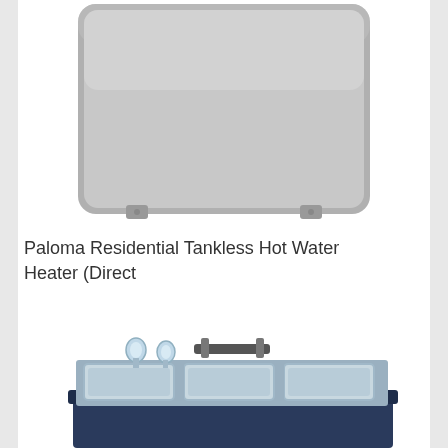[Figure (photo): A Paloma residential tankless hot water heater unit viewed from the front, showing a flat gray rectangular panel with rounded corners and mounting hardware at bottom corners.]
Paloma Residential Tankless Hot Water Heater (Direct
[Figure (photo): A stainless steel triple-basin sink on a dark blue base cabinet, with chrome faucets and handles visible above the basins.]